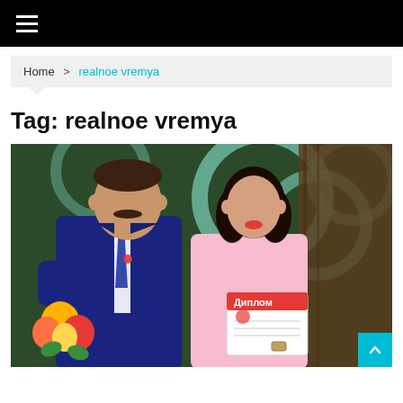≡ (navigation menu)
Home > realnoe vremya
Tag: realnoe vremya
[Figure (photo): A man in a dark blue suit and tie standing next to a woman in a light pink outfit holding flowers and a diploma certificate (Диплом). They are posing together at what appears to be an awards ceremony with a decorative green and white background.]